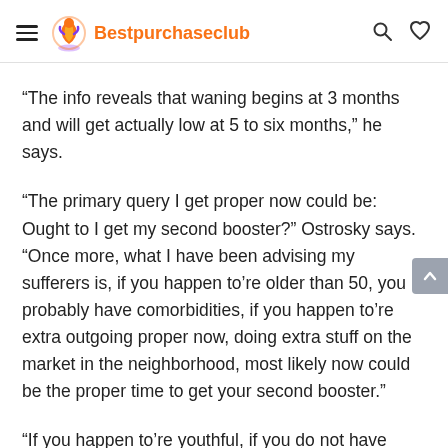Bestpurchaseclub
“The info reveals that waning begins at 3 months and will get actually low at 5 to six months,” he says.
“The primary query I get proper now could be: Ought to I get my second booster?” Ostrosky says. “Once more, what I have been advising my sufferers is, if you happen to’re older than 50, you probably have comorbidities, if you happen to’re extra outgoing proper now, doing extra stuff on the market in the neighborhood, most likely now could be the proper time to get your second booster.”
“If you happen to’re youthful, if you do not have